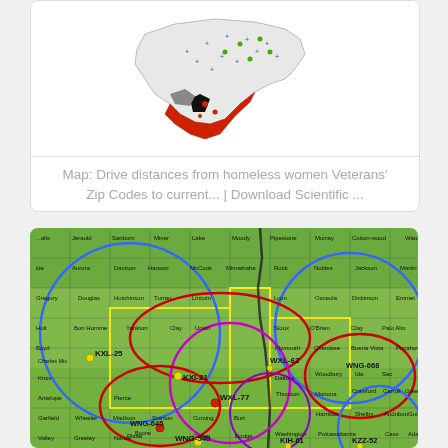[Figure (map): Map of North America showing locations related to homeless women Veterans, with colored regions highlighting areas of interest, particularly in the southwestern United States.]
Map: Drive distances from homeless women Veterans' Zip Codes to current... | Download Scientific ...
[Figure (map): Detailed county map of South Dakota, Nebraska, and Iowa region showing weather radio station coverage circles. Stations labeled include KXL-25, KXI-21, WXL-62, WXL-77, WNG-668, WNG-645, WNG-549, KIH-61, KZZ-52. Overlapping blue, red, purple and magenta circles indicate coverage areas. Counties labeled with names on a green terrain background.]